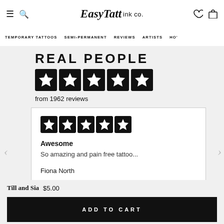EasyTatt ink co. — navigation header with hamburger, search, wishlist, cart icons
TEMPORARY TATTOOS | SEMI-PERMANENT | REVIEWS | ARTISTS | HO'
REAL PEOPLE
from 1962 reviews
Awesome
So amazing and pain free tattoo...
Fiona North
Till and Sia   $5.00
ADD TO CART